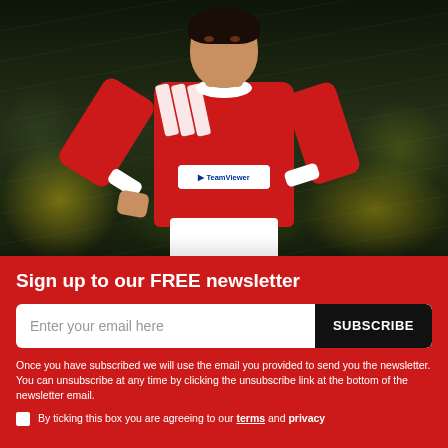[Figure (photo): Photo of a soccer player wearing a red Manchester United jersey with TeamViewer sponsor and Adidas logo, pointing to himself, with a blurred crowd background]
Sign up to our FREE newsletter
Enter your email here
SUBSCRIBE
Once you have subscribed we will use the email you provided to send you the newsletter. You can unsubscribe at any time by clicking the unsubscribe link at the bottom of the newsletter email.
By ticking this box you are agreeing to our terms and privacy